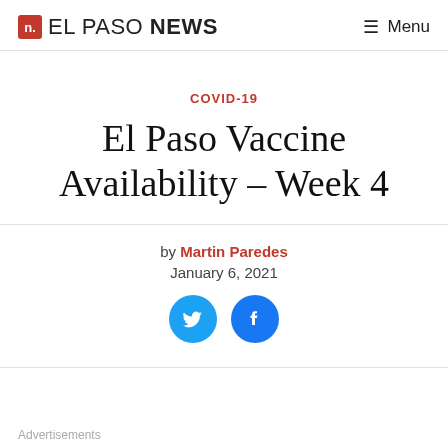EL PASO NEWS  Menu
COVID-19
El Paso Vaccine Availability – Week 4
by Martin Paredes
January 6, 2021
[Figure (infographic): Twitter and Facebook social sharing icons (blue circular buttons)]
Advertisements